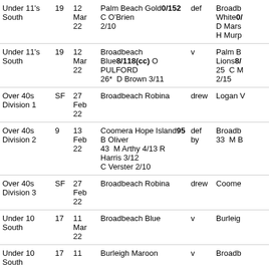| Division | Rnd | Date | Home Team | Result | Away Team |
| --- | --- | --- | --- | --- | --- |
| Under 11's South | 19 | 12 Mar 22 | Palm Beach Gold 0/152  C O'Brien 2/10 | def | Broadb White0/... D Mars H Murp |
| Under 11's South | 19 | 12 Mar 22 | Broadbeach Blue 8/118(cc) O PULFORD 26*  D Brown 3/11 | v | Palm B Lions8/... 25  C M 2/15 |
| Over 40s Division 1 | SF | 27 Feb 22 | Broadbeach Robina | drew | Logan V |
| Over 40s Division 2 | 9 | 13 Feb 22 | Coomera Hope Island 95  B Oliver 43  M Arthy 4/13 R Harris 3/12 C Verster 2/10 | def by | Broadb 33  M B |
| Over 40s Division 3 | SF | 27 Feb 22 | Broadbeach Robina | drew | Coome |
| Under 10 South | 17 | 11 Mar 22 | Broadbeach Blue | v | Burleig |
| Under 10 South | 17 | 11 | Burleigh Maroon | v | Broadb |